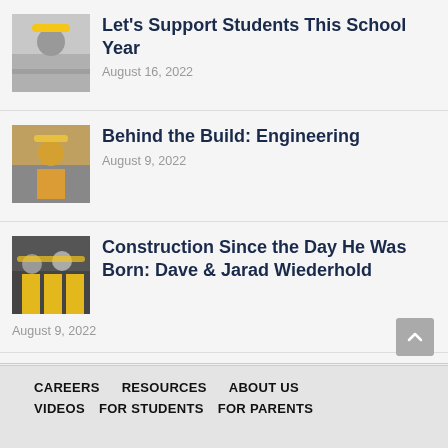Let's Support Students This School Year
August 16, 2022
Behind the Build: Engineering
August 9, 2022
Construction Since the Day He Was Born: Dave & Jarad Wiederhold
August 9, 2022
CAREERS   RESOURCES   ABOUT US   VIDEOS   FOR STUDENTS   FOR PARENTS